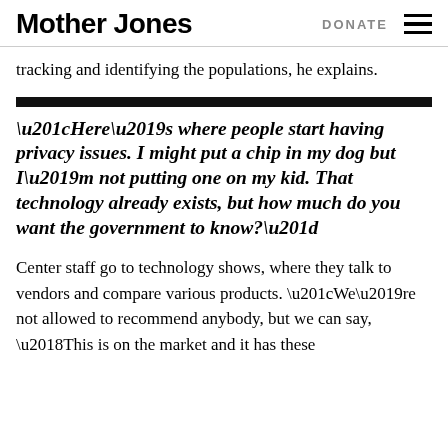Mother Jones | DONATE
tracking and identifying the populations, he explains.
“Here’s where people start having privacy issues. I might put a chip in my dog but I’m not putting one on my kid. That technology already exists, but how much do you want the government to know?”
Center staff go to technology shows, where they talk to vendors and compare various products. “We’re not allowed to recommend anybody, but we can say, ‘This is on the market and it has these